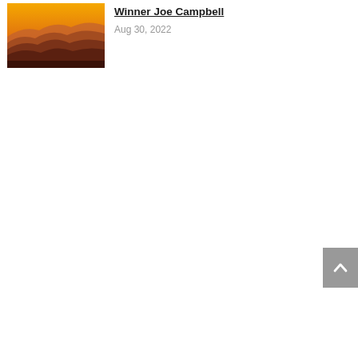[Figure (photo): Thumbnail image of a sunset over layered mountain silhouettes in orange and brown tones]
Winner Joe Campbell
Aug 30, 2022
[Figure (other): Gray scroll-to-top button with an upward caret/chevron arrow icon, positioned at the far right]